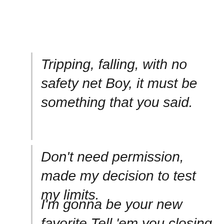Tripping, falling, with no safety net Boy, it must be something that you said.
Don’t need permission, made my decision to test my limits.
I’m gonna be your new favorite Tell ‘em you closing the door I am the only one for sure, baby